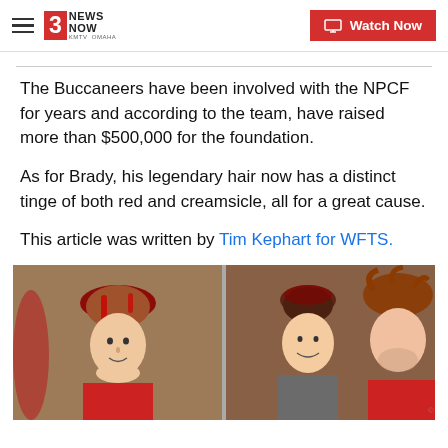3 News Now KMTV Omaha | Watch Now
The Buccaneers have been involved with the NPCF for years and according to the team, have raised more than $500,000 for the foundation.
As for Brady, his legendary hair now has a distinct tinge of both red and creamsicle, all for a great cause.
This article was written by Tim Kephart for WFTS.
[Figure (photo): Photo showing two football players and another person, all with red-dyed hair, smiling and talking together indoors.]